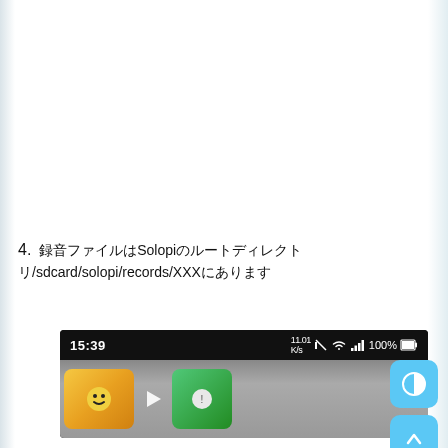4. 録音ファイルはSolopiのルートディレクトリ/sdcard/solopi/records/XXXにあります
[Figure (screenshot): Android smartphone screenshot showing status bar with time 15:39, signal icons, and 100% battery, with app thumbnails below]